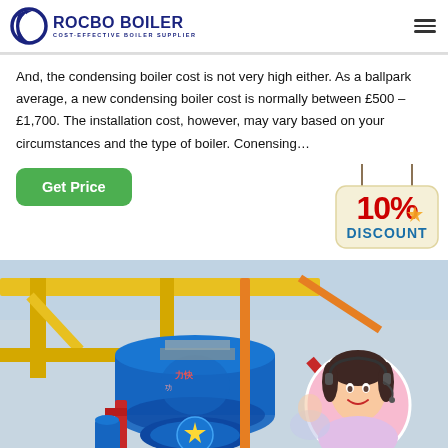ROCBO BOILER — COST-EFFECTIVE BOILER SUPPLIER
And, the condensing boiler cost is not very high either. As a ballpark average, a new condensing boiler cost is normally between £500 – £1,700. The installation cost, however, may vary based on your circumstances and the type of boiler. Condensing…
[Figure (infographic): Green 'Get Price' button on the left and a hanging '10% DISCOUNT' badge sign on the right]
[Figure (photo): Industrial boiler room interior with yellow metal framework, a large blue cylindrical boiler with Chinese text, red and blue pipes, and an inset circular photo of a smiling female customer service agent wearing a headset]